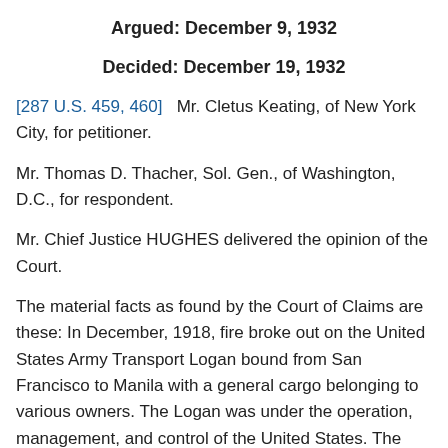Argued: December 9, 1932
Decided: December 19, 1932
[287 U.S. 459, 460]  Mr. Cletus Keating, of New York City, for petitioner.
Mr. Thomas D. Thacher, Sol. Gen., of Washington, D.C., for respondent.
Mr. Chief Justice HUGHES delivered the opinion of the Court.
The material facts as found by the Court of Claims are these: In December, 1918, fire broke out on the United States Army Transport Logan bound from San Francisco to Manila with a general cargo belonging to various owners. The Logan was under the operation, management, and control of the United States. The cargo consisted in part of military supplies for American troops in Siberia and the Philippine